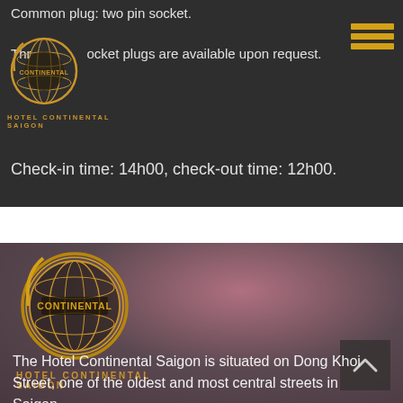Common plug: two pin socket.
Three socket plugs are available upon request.
[Figure (logo): Hotel Continental Saigon logo — golden globe with CONTINENTAL text and hotel name below]
Check-in time: 14h00, check-out time: 12h00.
[Figure (logo): Hotel Continental Saigon large logo with globe and gold text on blurred background]
The Hotel Continental Saigon is situated on Dong Khoi Street, one of the oldest and most central streets in Saigon.